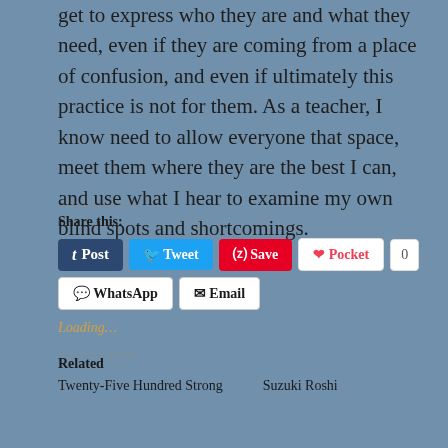get to express who they are and what they need, even if they are coming from a place of confusion, and even if ultimately this practice is not for them. As a teacher, I know need to allow everyone that space, meet them where they are the best I can, and use what I hear to examine my own blind spots and shortcomings.
Share this:
[Figure (screenshot): Social sharing buttons: Post (Tumblr), Tweet (Twitter), Save (Pinterest), Pocket with count 0, WhatsApp, Email]
Loading...
Related
Twenty-Five Hundred Strong    Suzuki Roshi